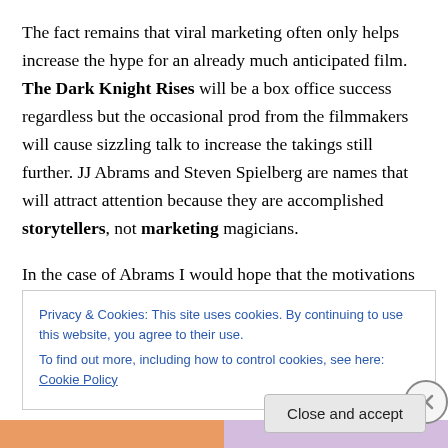The fact remains that viral marketing often only helps increase the hype for an already much anticipated film. The Dark Knight Rises will be a box office success regardless but the occasional prod from the filmmakers will cause sizzling talk to increase the takings still further. JJ Abrams and Steven Spielberg are names that will attract attention because they are accomplished storytellers, not marketing magicians.
In the case of Abrams I would hope that the motivations behind his teasing details and whiffs of mystery are noble;
Privacy & Cookies: This site uses cookies. By continuing to use this website, you agree to their use.
To find out more, including how to control cookies, see here: Cookie Policy
Close and accept